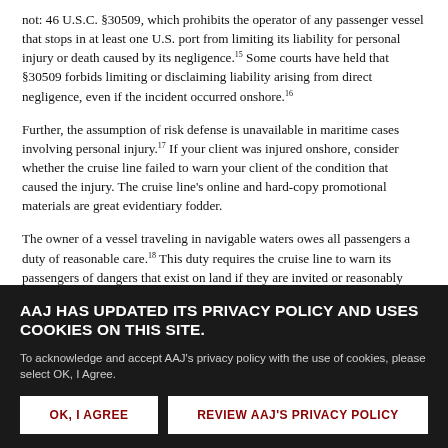not: 46 U.S.C. §30509, which prohibits the operator of any passenger vessel that stops in at least one U.S. port from limiting its liability for personal injury or death caused by its negligence.15 Some courts have held that §30509 forbids limiting or disclaiming liability arising from direct negligence, even if the incident occurred onshore.16
Further, the assumption of risk defense is unavailable in maritime cases involving personal injury.17 If your client was injured onshore, consider whether the cruise line failed to warn your client of the condition that caused the injury. The cruise line's online and hard-copy promotional materials are great evidentiary fodder.
The owner of a vessel traveling in navigable waters owes all passengers a duty of reasonable care.18 This duty requires the cruise line to warn its passengers of dangers that exist on land if they are invited or reasonably expected to encounter those dangers—and, specifically, to warn of dangers...
AAJ HAS UPDATED ITS PRIVACY POLICY AND USES COOKIES ON THIS SITE.
To acknowledge and accept AAJ's privacy policy with the use of cookies, please select OK, I Agree.
OK, I AGREE
REVIEW AAJ'S PRIVACY POLICY